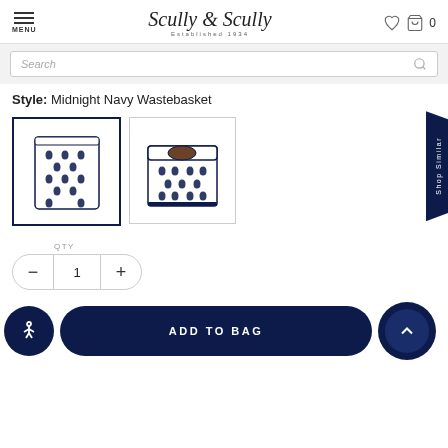Scully & Scully — Established 1934 — MENU — Cart: 0
Search
Style: Midnight Navy Wastebasket
[Figure (photo): Two product images: (1) Midnight Navy Wastebasket with navy polka-dot pattern on white background (selected, highlighted with navy border); (2) Midnight Navy tissue box cover with matching polka-dot pattern]
QTY
1
ADD TO BAG